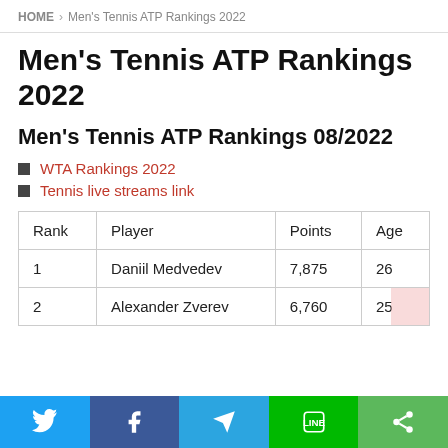HOME > Men's Tennis ATP Rankings 2022
Men's Tennis ATP Rankings 2022
Men's Tennis ATP Rankings 08/2022
WTA Rankings 2022
Tennis live streams link
| Rank | Player | Points | Age |
| --- | --- | --- | --- |
| 1 | Daniil Medvedev | 7,875 | 26 |
| 2 | Alexander Zverev | 6,760 | 25 |